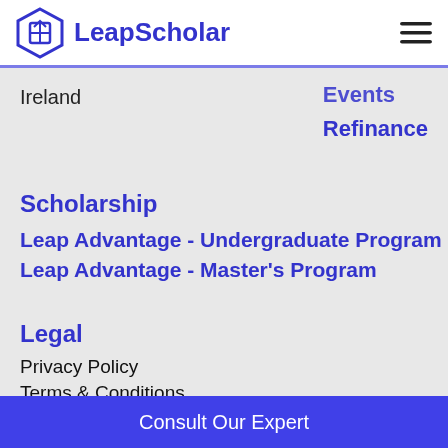LeapScholar
Ireland
Events
Refinance
Scholarship
Leap Advantage - Undergraduate Program
Leap Advantage - Master's Program
Legal
Privacy Policy
Terms & Conditions
Refund Policy
Consult Our Expert